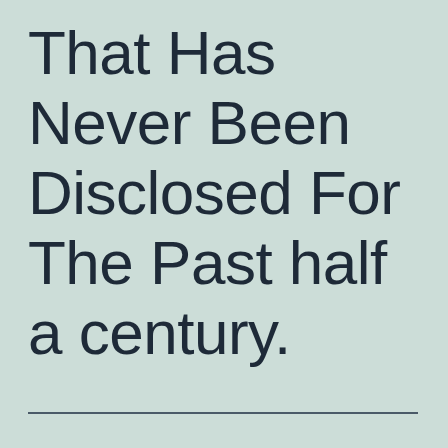That Has Never Been Disclosed For The Past half a century.